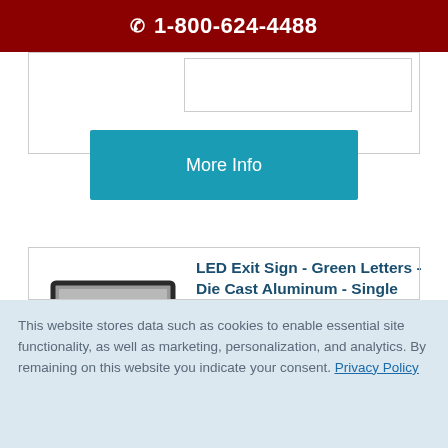📞 1-800-624-4488
[Figure (screenshot): More Info button - teal/blue colored button]
LED Exit Sign - Green Letters - Die Cast Aluminum - Single Face
AC Only No Battery - 120/277 Volt - Exitronix G402-LB-BL
[Figure (photo): LED Exit Sign with green letters on gray/black die cast aluminum housing]
This website stores data such as cookies to enable essential site functionality, as well as marketing, personalization, and analytics. By remaining on this website you indicate your consent. Privacy Policy